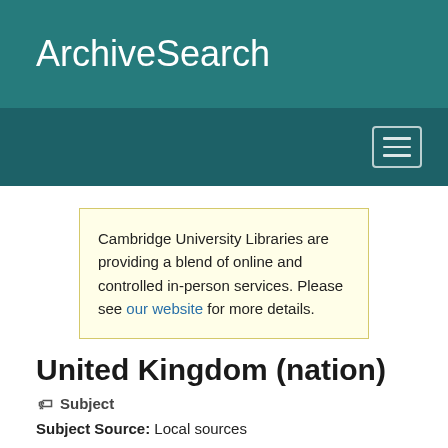ArchiveSearch
Cambridge University Libraries are providing a blend of online and controlled in-person services. Please see our website for more details.
United Kingdom (nation)
Subject
Subject Source: Local sources
Found in 4 Collections and/or Records: